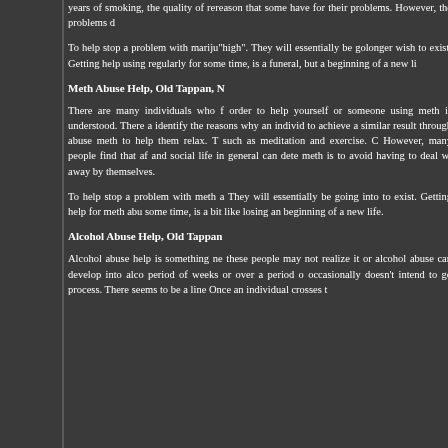years of smoking, the quality of re... reason that some have for their... problems. However, the problems d...
To help stop a problem with mariju... "high". They will essentially be go... longer wish to exist. Getting help... using regularly for some time, is a... funeral, but a beginning of a new li...
Meth Abuse Help, Old Tappan, N...
There are many individuals who f... order to help yourself or someone... using meth is understood. There a... identify the reasons why an individ... to achieve a similar result through... abuse meth to help them relax. T... such as meditation and exercise. C... However, many people find that af... and social life in general can dete... meth is to avoid having to deal wi... away by themselves.
To help stop a problem with meth a... They will essentially be going into... to exist. Getting help for meth abu... some time, is a bit like losing an... beginning of a new life.
Alcohol Abuse Help, Old Tappan...
Alcohol abuse help is something ne... these people may not realize it or... alcohol abuse can develop into alco... period of weeks or over a period o... occasionally doesn't intend to go... process. There seems to be a line... Once an individual crosses t...